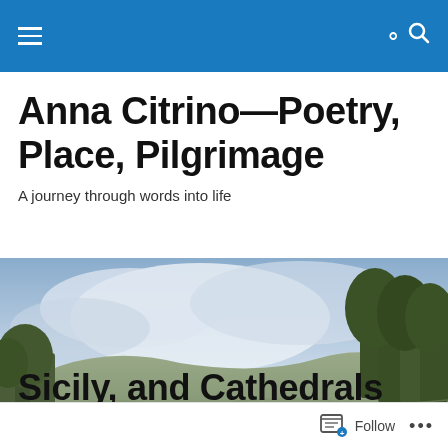Navigation bar with menu and search icons
Anna Citrino—Poetry, Place, Pilgrimage
A journey through words into life
[Figure (photo): Landscape photograph showing a grassy hill under a cloudy sky with trees on the right side]
Sicily, and Cathedrals of the Heart
Follow ...